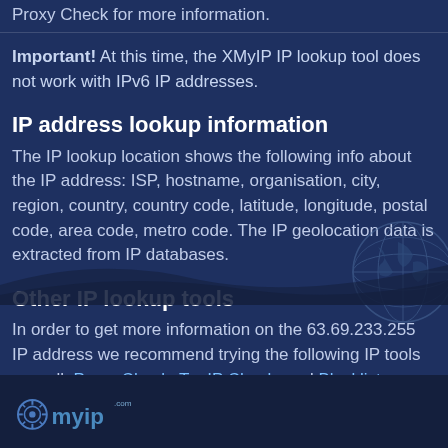Proxy Check for more information.
Important! At this time, the XMyIP IP lookup tool does not work with IPv6 IP addresses.
IP address lookup information
The IP lookup location shows the following info about the IP address: ISP, hostname, organisation, city, region, country, country code, latitude, longitude, postal code, area code, metro code. The IP geolocation data is extracted from IP databases.
Other IP lookup tools
In order to get more information on the 63.69.233.255 IP address we recommend trying the following IP tools as well: Proxy Check, Tor IP Check, and Blacklist Check.
[Figure (logo): XMyIP.com logo with compass-like icon on dark footer background]